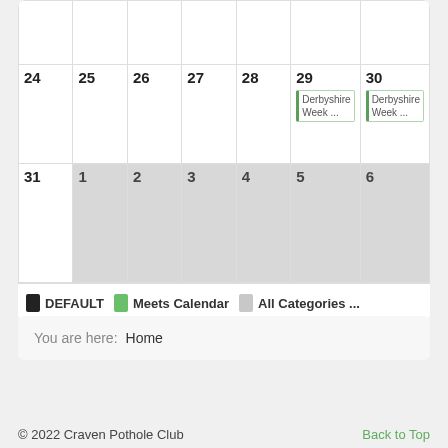| Sun | Mon | Tue | Wed | Thu | Fri | Sat |
| --- | --- | --- | --- | --- | --- | --- |
|  |  |  |  |  |  |  |
| 24 | 25 | 26 | 27 | 28 | 29 / Derbyshire Week... | 30 / Derbyshire Week... |
| 31 | 1 | 2 | 3 | 4 | 5 | 6 |
DEFAULT   Meets Calendar   All Categories ...
You are here:  Home
© 2022 Craven Pothole Club   Back to Top